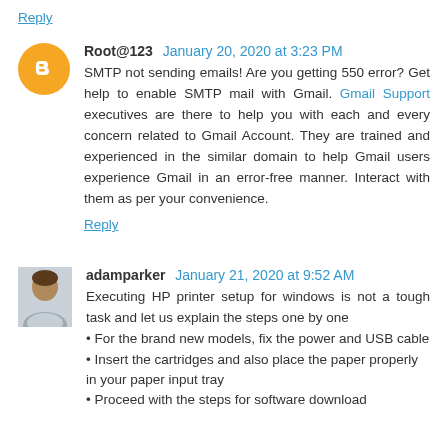Reply
Root@123  January 20, 2020 at 3:23 PM
SMTP not sending emails! Are you getting 550 error? Get help to enable SMTP mail with Gmail. Gmail Support executives are there to help you with each and every concern related to Gmail Account. They are trained and experienced in the similar domain to help Gmail users experience Gmail in an error-free manner. Interact with them as per your convenience.
Reply
adamparker  January 21, 2020 at 9:52 AM
Executing HP printer setup for windows is not a tough task and let us explain the steps one by one
For the brand new models, fix the power and USB cable
Insert the cartridges and also place the paper properly in your paper input tray
Proceed with the steps for software download